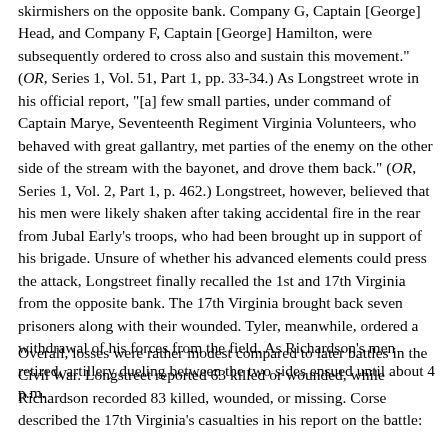skirmishers on the opposite bank. Company G, Captain [George] Head, and Company F, Captain [George] Hamilton, were subsequently ordered to cross also and sustain this movement." (OR, Series 1, Vol. 51, Part 1, pp. 33-34.) As Longstreet wrote in his official report, "[a] few small parties, under command of Captain Marye, Seventeenth Regiment Virginia Volunteers, who behaved with great gallantry, met parties of the enemy on the other side of the stream with the bayonet, and drove them back." (OR, Series 1, Vol. 2, Part 1, p. 462.) Longstreet, however, believed that his men were likely shaken after taking accidental fire in the rear from Jubal Early's troops, who had been brought up in support of his brigade. Unsure of whether his advanced elements could press the attack, Longstreet finally recalled the 1st and 17th Virginia from the opposite bank. The 17th Virginia brought back seven prisoners along with their wounded. Tyler, meanwhile, ordered a withdrawal of his forces from the field. As Richardson's men retired, artillery dueling between the two sides ensued until about 4 p.m.
Overall, losses were rather modest compared to later battles in the Civil War. Longstreet reported 63 killed or wounded, while Richardson recorded 83 killed, wounded, or missing. Corse described the 17th Virginia's casualties in his report on the battle: